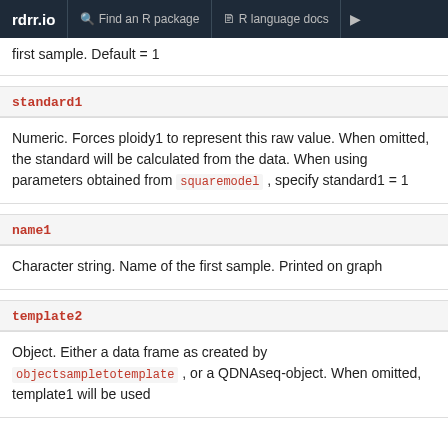rdrr.io   Find an R package   R language docs
first sample. Default = 1
standard1
Numeric. Forces ploidy1 to represent this raw value. When omitted, the standard will be calculated from the data. When using parameters obtained from squaremodel , specify standard1 = 1
name1
Character string. Name of the first sample. Printed on graph
template2
Object. Either a data frame as created by objectsampletotemplate , or a QDNAseq-object. When omitted, template1 will be used